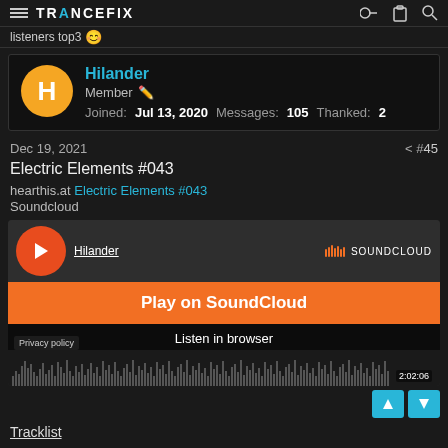listeners top3 | TRANCEFIX
Hilander
Member
Joined: Jul 13, 2020  Messages: 105  Thanked: 2
Dec 19, 2021  #45
Electric Elements #043
hearthis.at Electric Elements #043
Soundcloud
[Figure (screenshot): SoundCloud embedded player showing 'Play on SoundCloud' button, 'Listen in browser' text, waveform, duration 2:02:06, Privacy policy link, and album art with Hilander username]
Tracklist